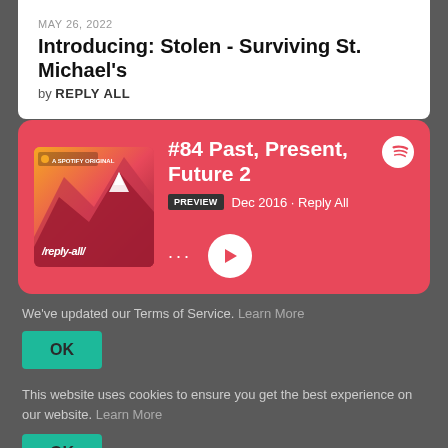MAY 26, 2022
Introducing: Stolen - Surviving St. Michael's
by REPLY ALL
[Figure (screenshot): Spotify podcast card for '#84 Past, Present, Future 2' from Reply All, December 2016, with pink/red background, podcast album art showing mountains, preview badge, and play button]
We've updated our Terms of Service. Learn More
OK
This website uses cookies to ensure you get the best experience on our website. Learn More
OK